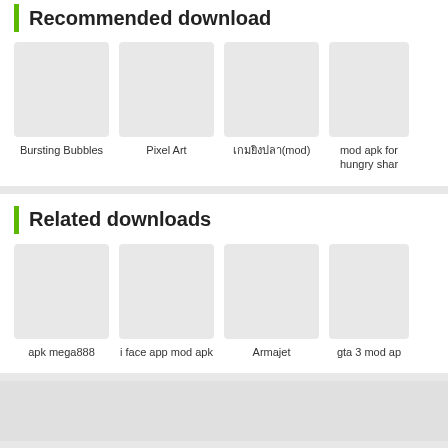Recommended download
[Figure (screenshot): Thumbnail placeholder for Bursting Bubbles app]
Bursting Bubbles
[Figure (screenshot): Thumbnail placeholder for Pixel Art app]
Pixel Art
[Figure (screenshot): Thumbnail placeholder for app with non-Latin name (mod)]
เกมยิงปลา(mod)
[Figure (screenshot): Thumbnail placeholder for mod apk for hungry shark]
mod apk for hungry shar
Related downloads
[Figure (screenshot): Thumbnail placeholder for apk mega888]
apk mega888
[Figure (screenshot): Thumbnail placeholder for i face app mod apk]
i face app mod apk
[Figure (screenshot): Thumbnail placeholder for Armajet]
Armajet
[Figure (screenshot): Thumbnail placeholder for gta 3 mod apk]
gta 3 mod ap